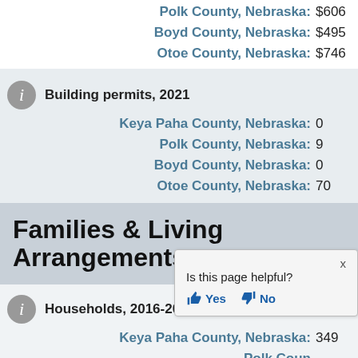Polk County, Nebraska: $606
Boyd County, Nebraska: $495
Otoe County, Nebraska: $746
Building permits, 2021
Keya Paha County, Nebraska: 0
Polk County, Nebraska: 9
Boyd County, Nebraska: 0
Otoe County, Nebraska: 70
Families & Living Arrangements
Households, 2016-2020
Keya Paha County, Nebraska: 349
Polk County, Nebraska:
Boyd County, Nebraska: